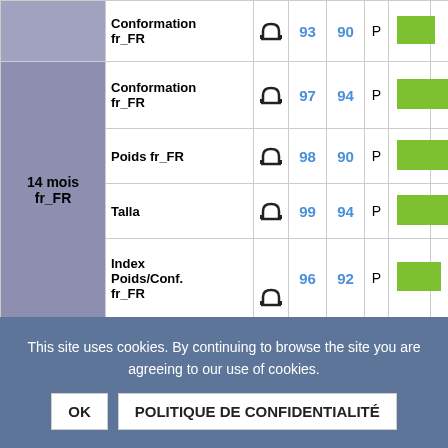| Group | Trait | Icon | Val1 | Val2 | P | Bar |  |
| --- | --- | --- | --- | --- | --- | --- | --- |
|  | Conformation fr_FR | desc | 93 | 90 | P | large |  |
| 14 mois fr_FR | Conformation fr_FR | desc | 97 | 94 | P | large |  |
| 14 mois fr_FR | Poids fr_FR | desc | 98 | 90 | P | large |  |
| 14 mois fr_FR | Talla | desc | 99 | 94 | P | large |  |
| 14 mois fr_FR | Index Poids/Conf. fr_FR | desc | 96 | 92 | P | medium |  |
| Poids Carcasse fr_FR | Poids Carcasse fr_FR | desc | 101 | 89 | P | large |  |
| Poids Carcasse fr_FR | Poids Carcasse Femelle fr_FR | desc | 83 | 88 | P | small |  |
Index sur descendants fr_FR
Index sur ascendants fr_FR
This site uses cookies. By continuing to browse the site you are agreeing to our use of cookies.